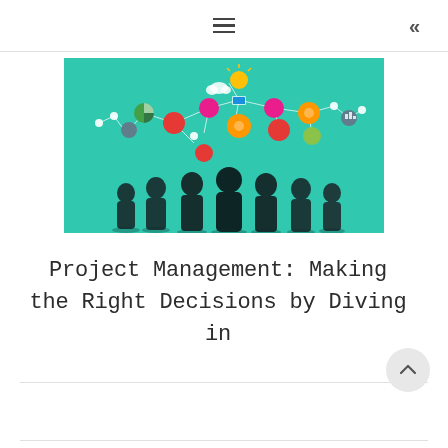≡  «
[Figure (illustration): Hero illustration showing silhouettes of six people standing together, with colorful connected icons and symbols floating above their heads on a teal/green background, representing brainstorming and knowledge sharing in project management.]
Project Management: Making the Right Decisions by Diving in